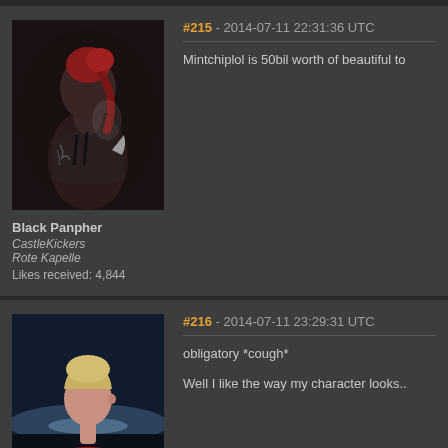[Figure (screenshot): Forum post #215 by Black Panpher with avatar of female character with red hair viewed from behind showing tattoos, timestamp 2014-07-11 22:31:36 UTC, text: Mintchiplol is 50bil worth of beautiful to]
Black Panpher
CastleKickers
Rote Kapelle
Likes received: 4,844
#215 - 2014-07-11 22:31:36 UTC
Mintchiplol is 50bil worth of beautiful to
[Figure (screenshot): Forum post #216 by Madam Lash with avatar of female character in red top with tattoos, timestamp 2014-07-11 23:29:31 UTC, text: obligatory *cough* Well I like the way my character looks..]
Madam Lash
#216 - 2014-07-11 23:29:31 UTC
obligatory *cough*

Well I like the way my character looks..